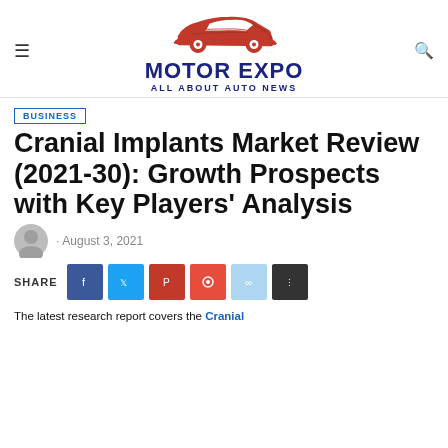MOTOR EXPO — ALL ABOUT AUTO NEWS
BUSINESS
Cranial Implants Market Review (2021-30): Growth Prospects with Key Players' Analysis
· August 3, 2021
SHARE
The latest